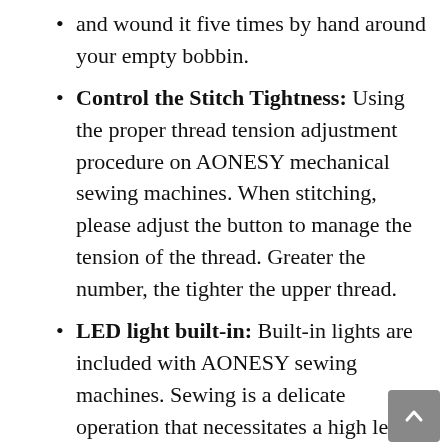and wound it five times by hand around your empty bobbin.
Control the Stitch Tightness: Using the proper thread tension adjustment procedure on AONESY mechanical sewing machines. When stitching, please adjust the button to manage the tension of the thread. Greater the number, the tighter the upper thread.
LED light built-in: Built-in lights are included with AONESY sewing machines. Sewing is a delicate operation that necessitates a high level of expertise and precision. The greatest sewing machine light can significantly improve your sewing sessions. Having a well-lit working space is vital whether you're simply doing simple